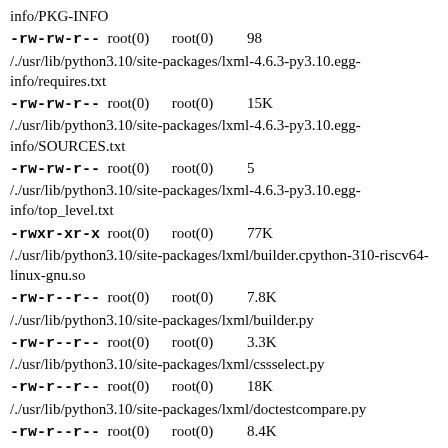info/PKG-INFO
-rw-rw-r--  root(0)      root(0)         98
/./usr/lib/python3.10/site-packages/lxml-4.6.3-py3.10.egg-info/requires.txt
-rw-rw-r--  root(0)      root(0)         15K
/./usr/lib/python3.10/site-packages/lxml-4.6.3-py3.10.egg-info/SOURCES.txt
-rw-rw-r--  root(0)      root(0)         5
/./usr/lib/python3.10/site-packages/lxml-4.6.3-py3.10.egg-info/top_level.txt
-rwxr-xr-x  root(0)      root(0)         77K
/./usr/lib/python3.10/site-packages/lxml/builder.cpython-310-riscv64-linux-gnu.so
-rw-r--r--  root(0)      root(0)         7.8K
/./usr/lib/python3.10/site-packages/lxml/builder.py
-rw-r--r--  root(0)      root(0)         3.3K
/./usr/lib/python3.10/site-packages/lxml/cssselect.py
-rw-r--r--  root(0)      root(0)         18K
/./usr/lib/python3.10/site-packages/lxml/doctestcompare.py
-rw-r--r--  root(0)      root(0)         8.4K
/./usr/lib/python3.10/site-packages/lxml/ElementInclude.py
-rwxr-xr-x  root(0)      root(0)         137K
/./usr/lib/python3.10/site-